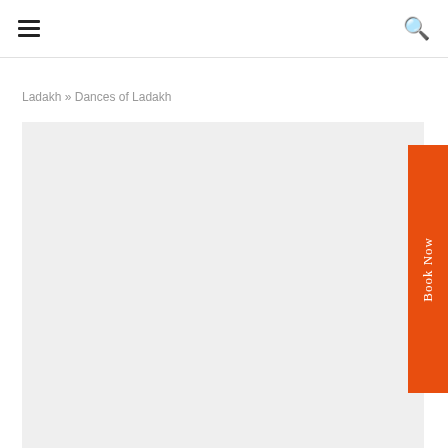≡  🔍
Ladakh » Dances of Ladakh
[Figure (other): Large light gray image placeholder area for Dances of Ladakh content]
Book Now